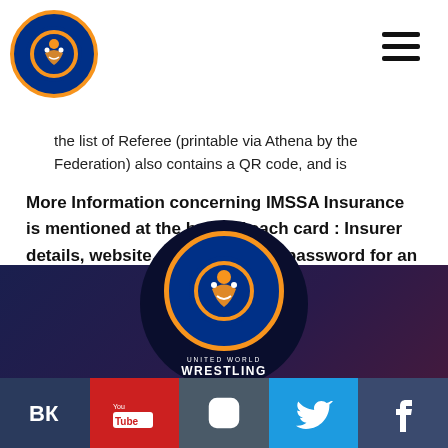United World Wrestling
the list of Referee (printable via Athena by the Federation) also contains a QR code, and is accepted as valid proof for license.
More Information concerning IMSSA Insurance is mentioned at the back of each card : Insurer details, website, user name and password for an online insurance claim, and also on our website, under Governance / License / Insurance.
[Figure (logo): United World Wrestling logo - orange circle with wrestling figure on dark navy background, with text UNITED WORLD WRESTLING below]
Social media icons: VK, YouTube, Instagram, Twitter, Facebook